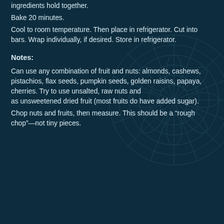ingredients hold together.
Bake 20 minutes.
Cool to room temperature. Then place in refrigerator. Cut into bars. Wrap individually, if desired. Store in refrigerator.
Notes:
Can use any combination of fruit and nuts: almonds, cashews, pistachios, flax seeds, pumpkin seeds, golden raisins, papaya, cherries. Try to use unsalted, raw nuts and as unsweetened dried fruit (most fruits do have added sugar).
Chop nuts and fruits, then measure. This should be a "rough chop"—not tiny pieces.